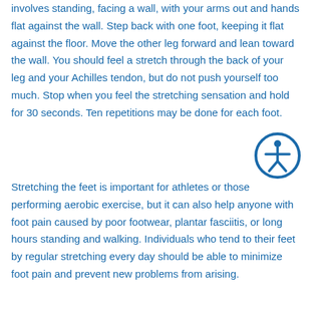involves standing, facing a wall, with your arms out and hands flat against the wall. Step back with one foot, keeping it flat against the floor. Move the other leg forward and lean toward the wall. You should feel a stretch through the back of your leg and your Achilles tendon, but do not push yourself too much. Stop when you feel the stretching sensation and hold for 30 seconds. Ten repetitions may be done for each foot.
[Figure (illustration): Accessibility icon — circular blue outline containing a stylized human figure with arms outstretched]
Stretching the feet is important for athletes or those performing aerobic exercise, but it can also help anyone with foot pain caused by poor footwear, plantar fasciitis, or long hours standing and walking. Individuals who tend to their feet by regular stretching every day should be able to minimize foot pain and prevent new problems from arising.